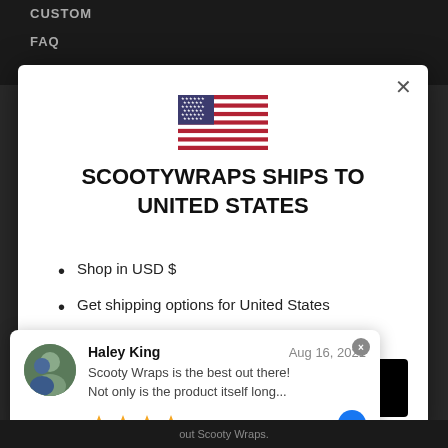CUSTOM
FAQ
[Figure (illustration): United States flag icon]
SCOOTYWRAPS SHIPS TO UNITED STATES
Shop in USD $
Get shipping options for United States
Shop now
Haley King  Aug 16, 2021
Scooty Wraps is the best out there! Not only is the product itself long...
★★★★★
out Scooty Wraps.